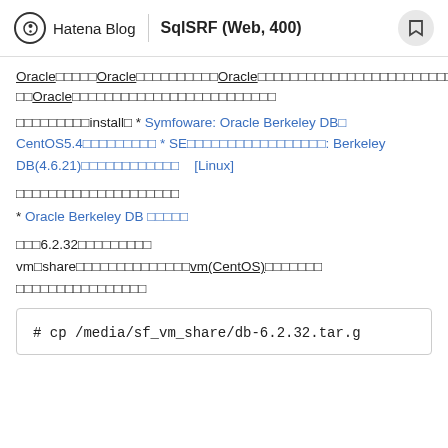Hatena Blog | SqlSRF (Web, 400)
Oracle□□□□□Oracle□□□□□□□□□□Oracle□□□□□□□□□□□□□□□□□□□□□□□□□□□□Oracle□□□□□□□□□□□□□□□□□□□□□□□□□□
□□□□□□□□□install□ * Symfoware: Oracle Berkeley DB□ CentOS5.4□□□□□□□□□ * SE□□□□□□□□□□□□□□□□□: Berkeley DB(4.6.21)□□□□□□□□□□□□   [Linux]
□□□□□□□□□□□□□□□□□□□□
* Oracle Berkeley DB □□□□□
□□□6.2.32□□□□□□□□□
vm□share□□□□□□□□□□□□□□vm(CentOS)□□□□□□□
□□□□□□□□□□□□□□□□
# cp /media/sf_vm_share/db-6.2.32.tar.g